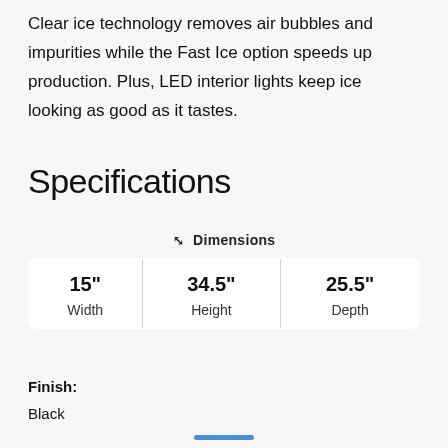Clear ice technology removes air bubbles and impurities while the Fast Ice option speeds up production. Plus, LED interior lights keep ice looking as good as it tastes.
Specifications
| Width | Height | Depth |
| --- | --- | --- |
| 15" | 34.5" | 25.5" |
Finish:
Black